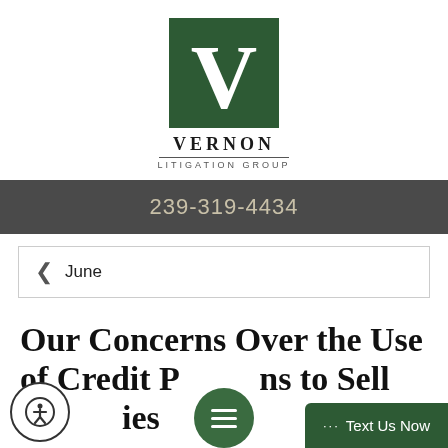[Figure (logo): Vernon Litigation Group logo — dark green square with large white V letter mark, with firm name VERNON LITIGATION GROUP below]
239-319-4434
< June
Our Concerns Over the Use of Credit Persons to Sell Annuities